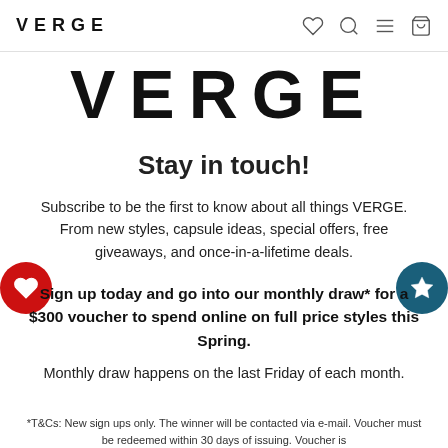VERGE
VERGE
Stay in touch!
Subscribe to be the first to know about all things VERGE. From new styles, capsule ideas, special offers, free giveaways, and once-in-a-lifetime deals.
Sign up today and go into our monthly draw* for a $300 voucher to spend online on full price styles this Spring.
Monthly draw happens on the last Friday of each month.
*T&Cs: New sign ups only. The winner will be contacted via e-mail. Voucher must be redeemed within 30 days of issuing. Voucher is